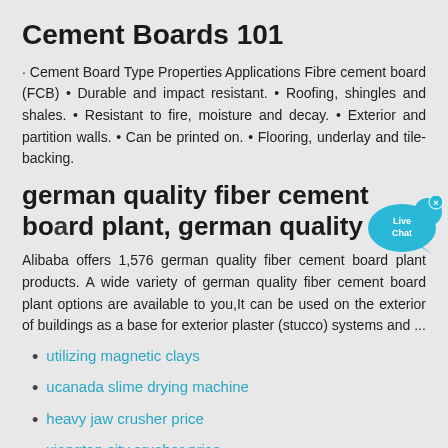Cement Boards 101
· Cement Board Type Properties Applications Fibre cement board (FCB) • Durable and impact resistant. • Roofing, shingles and shales. • Resistant to fire, moisture and decay. • Exterior and partition walls. • Can be printed on. • Flooring, underlay and tile-backing.
[Figure (other): Live Chat speech bubble widget with 'Live Chat' text and close button]
german quality fiber cement board plant, german quality …
Alibaba offers 1,576 german quality fiber cement board plant products. A wide variety of german quality fiber cement board plant options are available to you,It can be used on the exterior of buildings as a base for exterior plaster (stucco) systems and ...
utilizing magnetic clays
ucanada slime drying machine
heavy jaw crusher price
xiangtan city crusher price
sand stone culture